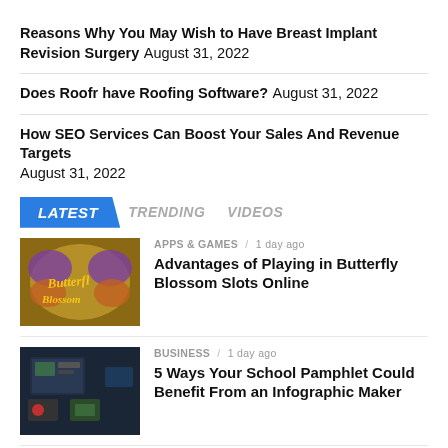Reasons Why You May Wish to Have Breast Implant Revision Surgery August 31, 2022
Does Roofr have Roofing Software? August 31, 2022
How SEO Services Can Boost Your Sales And Revenue Targets August 31, 2022
LATEST   TRENDING   VIDEOS
[Figure (photo): Butterfly Blossom Slots game logo with colorful butterfly and flowers]
APPS & GAMES / 1 day ago
Advantages of Playing in Butterfly Blossom Slots Online
[Figure (photo): Dark background with school pamphlet design elements]
BUSINESS / 1 day ago
5 Ways Your School Pamphlet Could Benefit From an Infographic Maker
[Figure (photo): Partial thumbnail image for health article]
HEALTH / 1 day ago